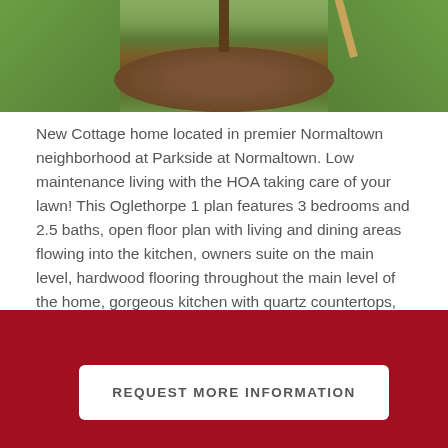[Figure (photo): Outdoor photo showing a young tree planted in a circular mulch bed surrounded by green grass, with a wooden stake visible in the background]
New Cottage home located in premier Normaltown neighborhood at Parkside at Normaltown. Low maintenance living with the HOA taking care of your lawn! This Oglethorpe 1 plan features 3 bedrooms and 2.5 baths, open floor plan with living and dining areas flowing into the kitchen, owners suite on the main level, hardwood flooring throughout the main level of the home, gorgeous kitchen with quartz countertops, stainless steel appliances, pantry with barn doors, screened porch and brick patio and one car garage with electric car charger already installed!
Parkside at Normaltown is walking distance to Bishop Park, the Athens Farmers Market, the YMCA, the MG Business district
REQUEST MORE INFORMATION